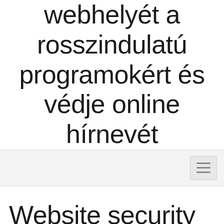webhelyét a rosszindulatú programokért és védje online hírnevét
[Figure (screenshot): Navigation bar with hamburger menu button on the right side, light gray background]
Website security & malware protection